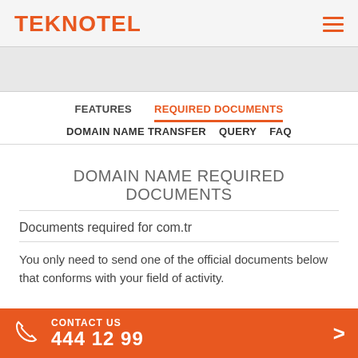TEKNOTEL
FEATURES | REQUIRED DOCUMENTS | DOMAIN NAME TRANSFER | QUERY | FAQ
DOMAIN NAME REQUIRED DOCUMENTS
Documents required for com.tr
You only need to send one of the official documents below that conforms with your field of activity.
CONTACT US 444 12 99